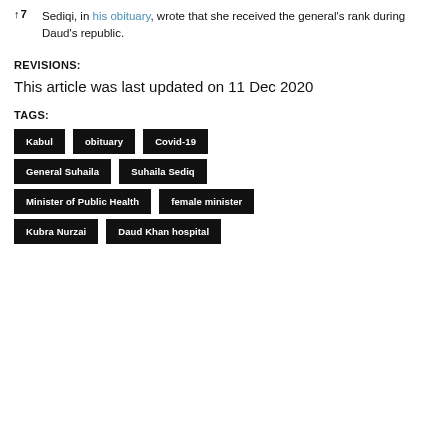↑7  Sediqi, in his obituary, wrote that she received the general's rank during Daud's republic.
REVISIONS:
This article was last updated on 11 Dec 2020
TAGS:
Kabul
obituary
Covid-19
General Suhaila
Suhaila Sediq
Minister of Public Health
female minister
Kubra Nurzai
Daud Khan hospital